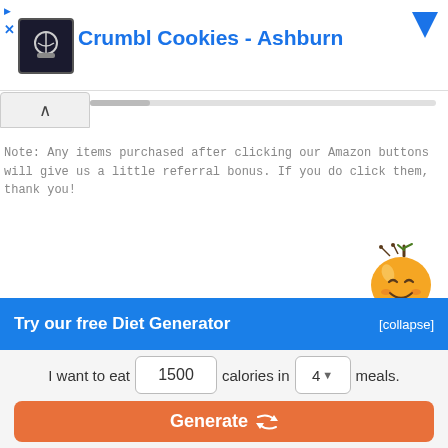[Figure (screenshot): Advertisement banner for Crumbl Cookies - Ashburn with store logo, blue title text, and a blue dropdown arrow. Small 'D' and 'X' indicators on the left.]
[Figure (screenshot): Collapse tab (^) and horizontal scrollbar area below the ad banner.]
Note: Any items purchased after clicking our Amazon buttons will give us a little referral bonus. If you do click them, thank you!
[Figure (illustration): Cartoon orange mascot character with a smiling face and green leaf on top.]
Try our free Diet Generator
[collapse]
I want to eat 1500 calories in 4 meals.
Generate